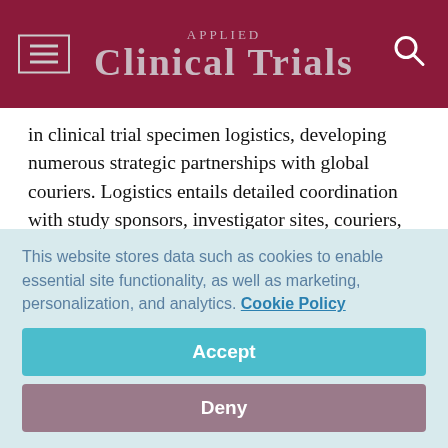Applied Clinical Trials
in clinical trial specimen logistics, developing numerous strategic partnerships with global couriers. Logistics entails detailed coordination with study sponsors, investigator sites, couriers, regulatory bodies, and their own scientific and technical personnel to get samples from study subject to laboratory and submitted in time for sponsor review.

How a central laboratory handles its transportation system can have a dramatic effect on how well they support
This website stores data such as cookies to enable essential site functionality, as well as marketing, personalization, and analytics. Cookie Policy
Accept
Deny